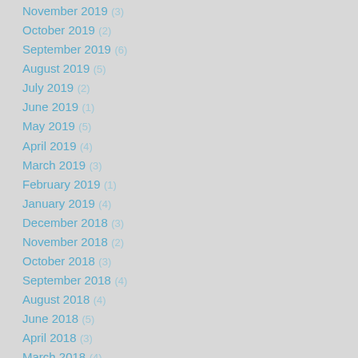November 2019 (3)
October 2019 (2)
September 2019 (6)
August 2019 (5)
July 2019 (2)
June 2019 (1)
May 2019 (5)
April 2019 (4)
March 2019 (3)
February 2019 (1)
January 2019 (4)
December 2018 (3)
November 2018 (2)
October 2018 (3)
September 2018 (4)
August 2018 (4)
June 2018 (5)
April 2018 (3)
March 2018 (4)
February 2018 (1)
January 2018 (5)
December 2017 (3)
November 2017 (4)